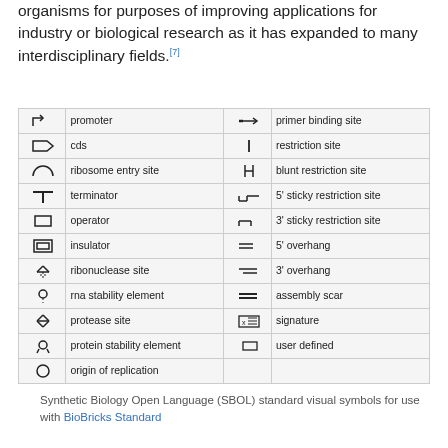organisms for purposes of improving applications for industry or biological research as it has expanded to many interdisciplinary fields.[7]
[Figure (table-as-image): SBOL standard visual symbols table showing icons and names for promoter, cds, ribosome entry site, terminator, operator, insulator, ribonuclease site, rna stability element, protease site, protein stability element, origin of replication, primer binding site, restriction site, blunt restriction site, 5' sticky restriction site, 3' sticky restriction site, 5' overhang, 3' overhang, assembly scar, signature, user defined]
Synthetic Biology Open Language (SBOL) standard visual symbols for use with BioBricks Standard